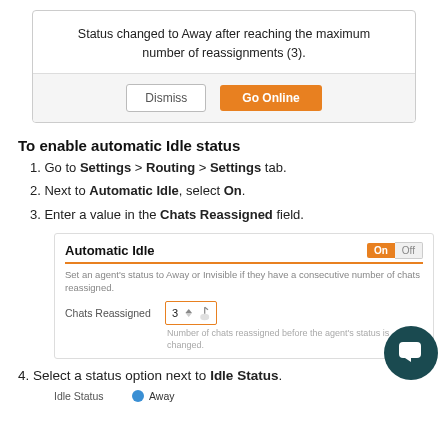[Figure (screenshot): Dialog box showing 'Status changed to Away after reaching the maximum number of reassignments (3).' with Dismiss and Go Online buttons]
To enable automatic Idle status
1. Go to Settings > Routing > Settings tab.
2. Next to Automatic Idle, select On.
3. Enter a value in the Chats Reassigned field.
[Figure (screenshot): Settings panel showing Automatic Idle toggle set to On, with Chats Reassigned field set to 3]
4. Select a status option next to Idle Status.
[Figure (screenshot): Idle Status row showing Away option selected with blue radio button]